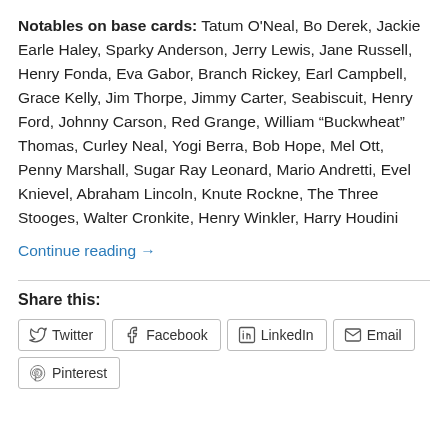Notables on base cards: Tatum O'Neal, Bo Derek, Jackie Earle Haley, Sparky Anderson, Jerry Lewis, Jane Russell, Henry Fonda, Eva Gabor, Branch Rickey, Earl Campbell, Grace Kelly, Jim Thorpe, Jimmy Carter, Seabiscuit, Henry Ford, Johnny Carson, Red Grange, William “Buckwheat” Thomas, Curley Neal, Yogi Berra, Bob Hope, Mel Ott, Penny Marshall, Sugar Ray Leonard, Mario Andretti, Evel Knievel, Abraham Lincoln, Knute Rockne, The Three Stooges, Walter Cronkite, Henry Winkler, Harry Houdini
Continue reading →
Share this: